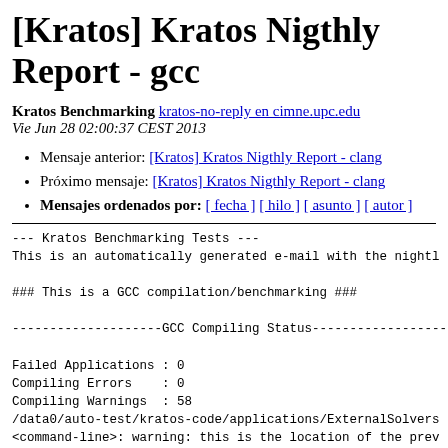[Kratos] Kratos Nigthly Report - gcc
Kratos Benchmarking kratos-no-reply en cimne.upc.edu
Vie Jun 28 02:00:37 CEST 2013
Mensaje anterior: [Kratos] Kratos Nigthly Report - clang
Próximo mensaje: [Kratos] Kratos Nigthly Report - clang
Mensajes ordenados por: [ fecha ] [ hilo ] [ asunto ] [ autor ]
--- Kratos Benchmarking Tests ---
This is an automatically generated e-mail with the nightl

### This is a GCC compilation/benchmarking ###

--------------------GCC Compiling Status------------------

Failed Applications : 0
Compiling Errors    : 0
Compiling Warnings  : 58
/data0/auto-test/kratos-code/applications/ExternalSolvers
<command-line>: warning: this is the location of the prev
/data0/auto-test/kratos-code/applications/PFEMapplication